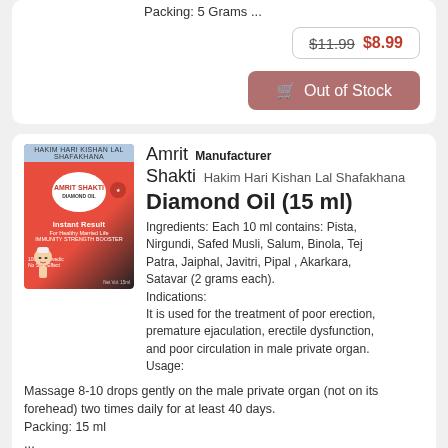Packing: 5 Grams ...
$11.99  $8.99
Out of Stock
Amrit  Manufacturer
Shakti  Hakim Hari Kishan Lal Shafakhana
Diamond Oil (15 ml)
Ingredients: Each 10 ml contains: Pista, Nirgundi, Safed Musli, Salum, Binola, Tej Patra, Jaiphal, Javitri, Pipal , Akarkara, Satavar (2 grams each).
Indications:
It is used for the treatment of poor erection, premature ejaculation, erectile dysfunction, and poor circulation in male private organ.
Usage:
Massage 8-10 drops gently on the male private organ (not on its forehead) two times daily for at least 40 days.
Packing: 15 ml
...
$15.99  $11.99
[Figure (photo): Product box of Amrit Shakti Diamond Oil (15 ml), red and black packaging with brand name and description]